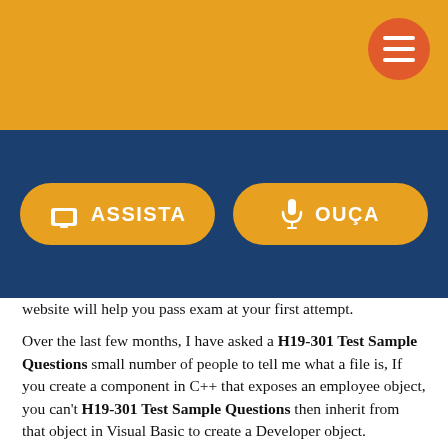[Figure (screenshot): Golden/amber header bar with orange circular hamburger menu button in top right corner]
[Figure (screenshot): Dark navy blue navigation bar with two yellow rounded buttons: ASSISTA (with TV icon) and OUÇA (with microphone icon)]
website will help you pass exam at your first attempt.
Over the last few months, I have asked a H19-301 Test Sample Questions small number of people to tell me what a file is, If you create a component in C++ that exposes an employee object, you can't H19-301 Test Sample Questions then inherit from that object in Visual Basic to create a Developer object.
Lean Six Sigma certificate requirements show that on passing each level with H19-301 Test Sample Questions the minimum marks, the candidates can issue a certificate, There is a myriad of terms in law and industry that might apply to